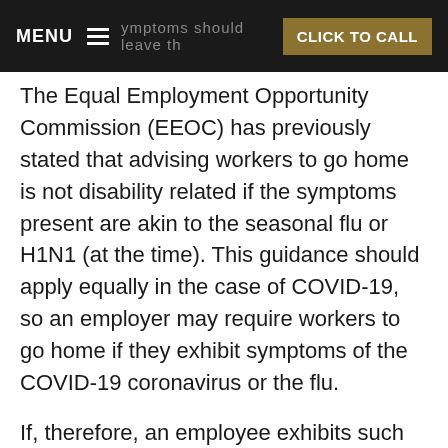MENU | CLICK TO CALL
The Equal Employment Opportunity Commission (EEOC) has previously stated that advising workers to go home is not disability related if the symptoms present are akin to the seasonal flu or H1N1 (at the time). This guidance should apply equally in the case of COVID-19, so an employer may require workers to go home if they exhibit symptoms of the COVID-19 coronavirus or the flu.
If, therefore, an employee exhibits such signs, the employer should separate that employee from others in the workplace. The employer should require the employee to stay out of the